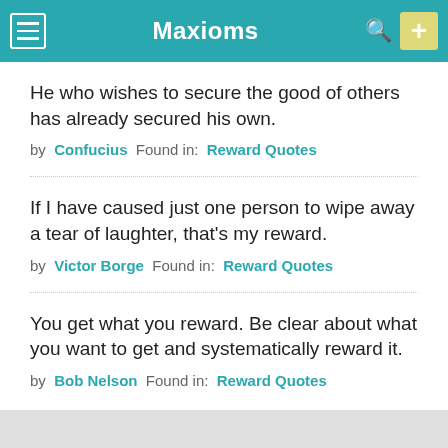Maxioms
He who wishes to secure the good of others has already secured his own.
by Confucius  Found in:  Reward Quotes
If I have caused just one person to wipe away a tear of laughter, that's my reward.
by Victor Borge  Found in:  Reward Quotes
You get what you reward. Be clear about what you want to get and systematically reward it.
by Bob Nelson  Found in:  Reward Quotes